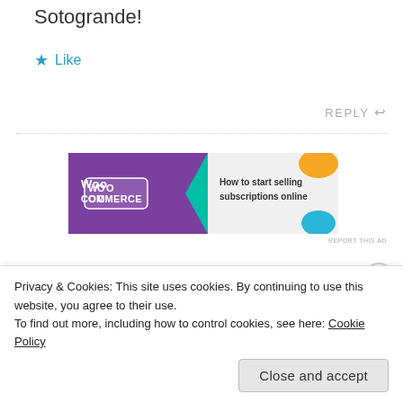Sotogrande!
★ Like
REPLY ↩
[Figure (screenshot): WooCommerce advertisement banner: purple background with WooCommerce logo on the left and text 'How to start selling subscriptions online' on a light background with colorful leaf shapes on the right.]
REPORT THIS AD
BruceDavid Johnson says:
Privacy & Cookies: This site uses cookies. By continuing to use this website, you agree to their use.
To find out more, including how to control cookies, see here: Cookie Policy
Close and accept